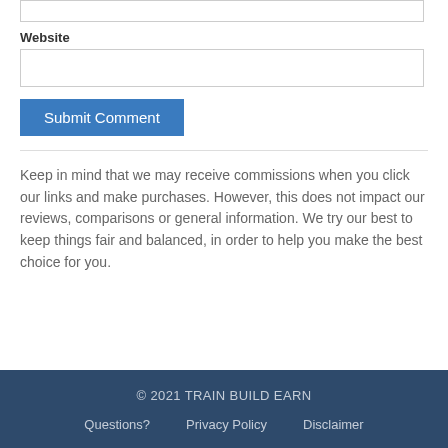Website
Submit Comment
Keep in mind that we may receive commissions when you click our links and make purchases. However, this does not impact our reviews, comparisons or general information. We try our best to keep things fair and balanced, in order to help you make the best choice for you.
© 2021 TRAIN BUILD EARN
Questions?   Privacy Policy   Disclaimer